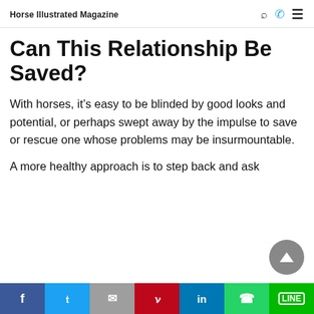Horse Illustrated Magazine
Can This Relationship Be Saved?
With horses, it’s easy to be blinded by good looks and potential, or perhaps swept away by the impulse to save or rescue one whose problems may be insurmountable.
A more healthy approach is to step back and ask